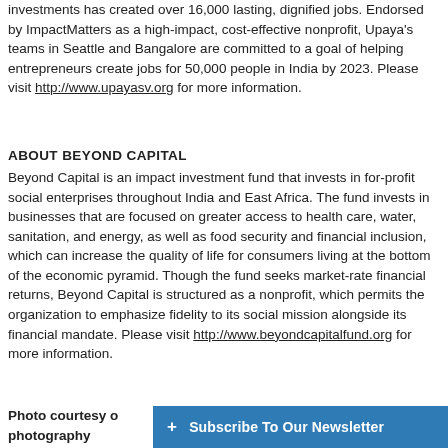investments has created over 16,000 lasting, dignified jobs. Endorsed by ImpactMatters as a high-impact, cost-effective nonprofit, Upaya's teams in Seattle and Bangalore are committed to a goal of helping entrepreneurs create jobs for 50,000 people in India by 2023. Please visit http://www.upayasv.org for more information.
ABOUT BEYOND CAPITAL
Beyond Capital is an impact investment fund that invests in for-profit social enterprises throughout India and East Africa. The fund invests in businesses that are focused on greater access to health care, water, sanitation, and energy, as well as food security and financial inclusion, which can increase the quality of life for consumers living at the bottom of the economic pyramid. Though the fund seeks market-rate financial returns, Beyond Capital is structured as a nonprofit, which permits the organization to emphasize fidelity to its social mission alongside its financial mandate. Please visit http://www.beyondcapitalfund.org for more information.
Photo courtesy of photography
+ Subscribe To Our Newsletter